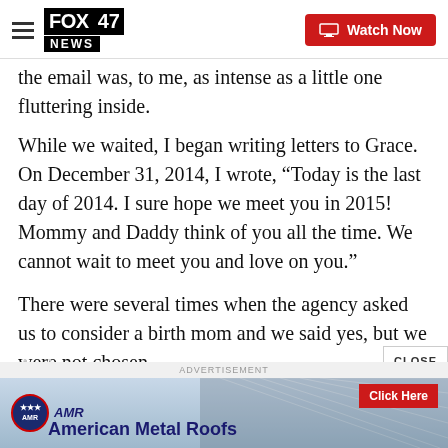FOX 47 NEWS — Watch Now
the email was, to me, as intense as a little one fluttering inside.
While we waited, I began writing letters to Grace. On December 31, 2014, I wrote, “Today is the last day of 2014. I sure hope we meet you in 2015! Mommy and Daddy think of you all the time. We cannot wait to meet you and love on you.”
There were several times when the agency asked us to consider a birth mom and we said yes, but we were not chosen.
And
[Figure (other): Advertisement banner for American Metal Roofs with Click Here button]